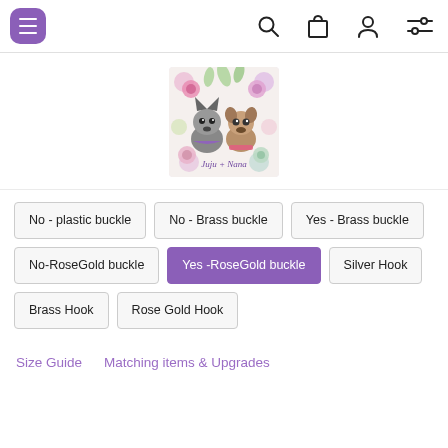Navigation bar with menu, search, bag, account, and filter icons
[Figure (illustration): Product logo image showing two dogs (a French Bulldog and a Pug) surrounded by floral watercolor art with text 'Juju + Nana']
No - plastic buckle
No - Brass buckle
Yes - Brass buckle
No-RoseGold buckle
Yes -RoseGold buckle (selected)
Silver Hook
Brass Hook
Rose Gold Hook
Size Guide    Matching items & Upgrades